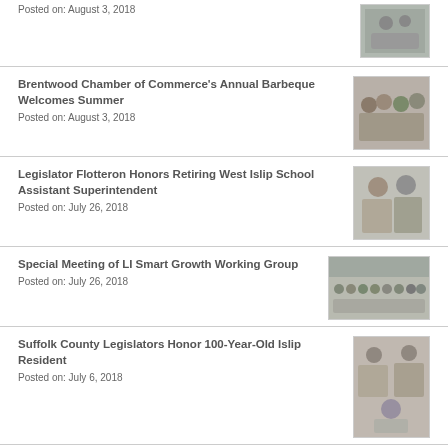Posted on: August 3, 2018
[Figure (photo): Group photo thumbnail at top]
Brentwood Chamber of Commerce's Annual Barbeque Welcomes Summer
Posted on: August 3, 2018
[Figure (photo): Group of people standing together]
Legislator Flotteron Honors Retiring West Islip School Assistant Superintendent
Posted on: July 26, 2018
[Figure (photo): Two people indoors]
Special Meeting of LI Smart Growth Working Group
Posted on: July 26, 2018
[Figure (photo): Large group of people in a room]
Suffolk County Legislators Honor 100-Year-Old Islip Resident
Posted on: July 6, 2018
[Figure (photo): Group photo with elderly resident]
Residents Along With Government Officials